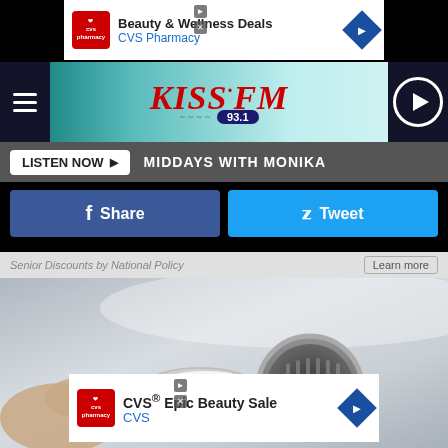[Figure (screenshot): CVS Pharmacy ad banner: Beauty & Wellness Deals]
KISS FM 93.1 radio station header with hamburger menu, logo, and play button
LISTEN NOW ▶   MIDDAYS WITH MONIKA
Share   Tweet
Senior Discounts by National Policy   Learn more
[Figure (photo): Hand holding a spoon of white powder (baking soda) over a kitchen sink drain]
[Figure (screenshot): CVS Epic Beauty Sale ad banner]